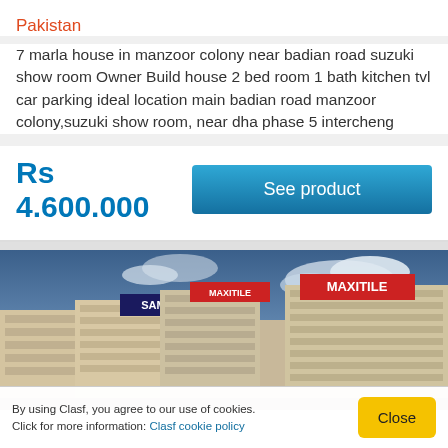Pakistan
7 marla house in manzoor colony near badian road suzuki show room Owner Build house 2 bed room 1 bath kitchen tvl car parking ideal location main badian road manzoor colony,suzuki show room, near dha phase 5 intercheng
Rs 4.600.000
See product
[Figure (photo): Exterior photo of commercial buildings including SAMSUNG and MAXITILE storefronts under a blue cloudy sky]
By using Clasf, you agree to our use of cookies. Click for more information: Clasf cookie policy
Close